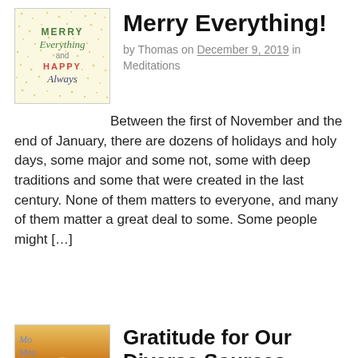[Figure (illustration): Thumbnail image with text 'Merry Everything and Happy Always' on a light yellow background with gold star/dot pattern]
Merry Everything!
by Thomas on December 9, 2019 in Meditations
Between the first of November and the end of January, there are dozens of holidays and holy days, some major and some not, some with deep traditions and some that were created in the last century. None of them matters to everyone, and many of them matter a great deal to some. Some people might […]
Continue Reading
[Figure (photo): Thumbnail photo showing silhouettes of people against a golden sunset sky with blue cursive text overlay reading 'Mo... Mea...']
Gratitude for Our Diverse Sources
by Thomas on August 26, 2019 in